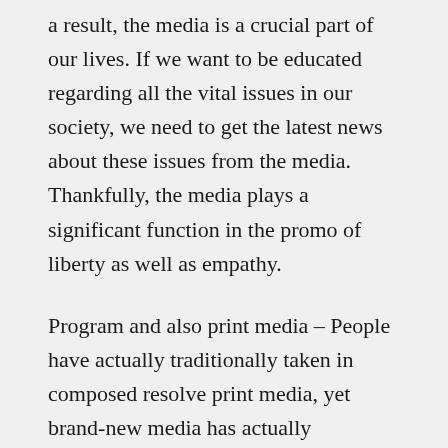a result, the media is a crucial part of our lives. If we want to be educated regarding all the vital issues in our society, we need to get the latest news about these issues from the media. Thankfully, the media plays a significant function in the promo of liberty as well as empathy.
Program and also print media – People have actually traditionally taken in composed resolve print media, yet brand-new media has actually influenced analysis habits. Seat Proving ground reports that 38% of united state grownups now check out news online. Literary sites, Wikipedia, as well as e- ...